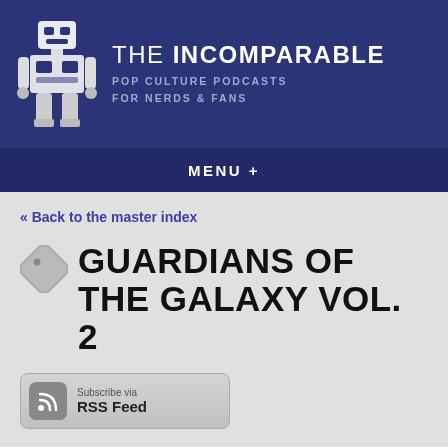THE INCOMPARABLE — POP CULTURE PODCASTS FOR NERDS & FANS
MENU +
« Back to the master index
GUARDIANS OF THE GALAXY VOL. 2
Subscribe via RSS Feed
DISCUSSED IN THESE EPISODES